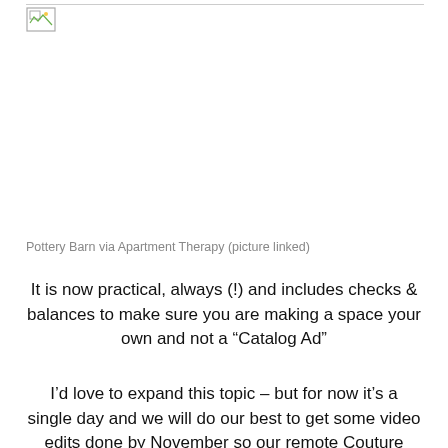[Figure (photo): Broken/missing image placeholder with a small landscape image icon in the top-left, and a horizontal rule across the top.]
Pottery Barn via Apartment Therapy (picture linked)
It is now practical, always (!) and includes checks & balances to make sure you are making a space your own and not a “Catalog Ad”
I’d love to expand this topic – but for now it’s a single day and we will do our best to get some video edits done by November so our remote Couture Chateau Friends can